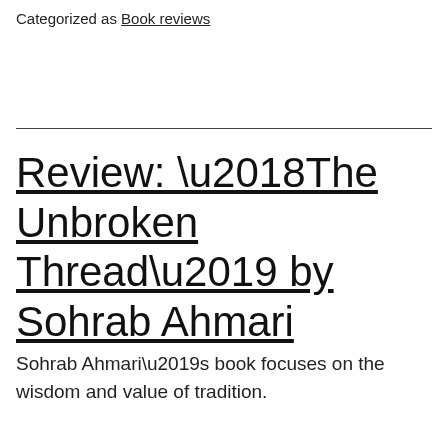Categorized as Book reviews
Review: ‘The Unbroken Thread’ by Sohrab Ahmari
Sohrab Ahmari’s book focuses on the wisdom and value of tradition.